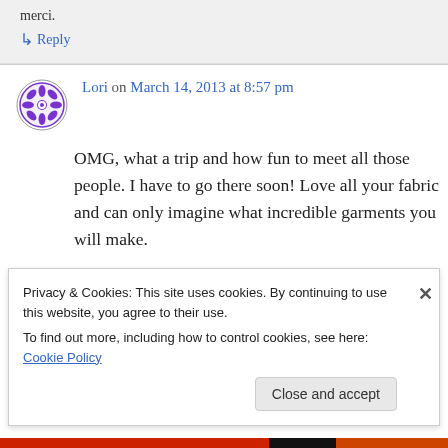merci.
↳ Reply
Lori on March 14, 2013 at 8:57 pm
OMG, what a trip and how fun to meet all those people. I have to go there soon! Love all your fabric and can only imagine what incredible garments you will make.
I am with you to Google Reader, did try blog
Privacy & Cookies: This site uses cookies. By continuing to use this website, you agree to their use.
To find out more, including how to control cookies, see here: Cookie Policy
Close and accept